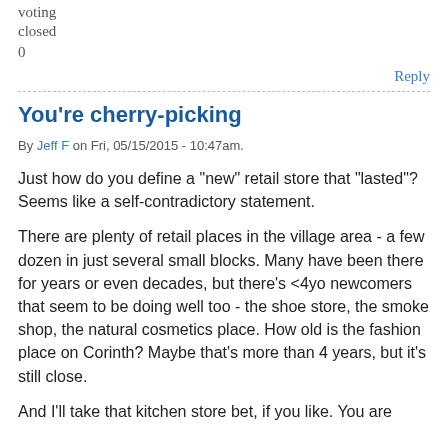voting
closed
0
Reply
You're cherry-picking
By Jeff F on Fri, 05/15/2015 - 10:47am.
Just how do you define a "new" retail store that "lasted"? Seems like a self-contradictory statement.
There are plenty of retail places in the village area - a few dozen in just several small blocks. Many have been there for years or even decades, but there's <4yo newcomers that seem to be doing well too - the shoe store, the smoke shop, the natural cosmetics place. How old is the fashion place on Corinth? Maybe that's more than 4 years, but it's still close.
And I'll take that kitchen store bet, if you like. You are